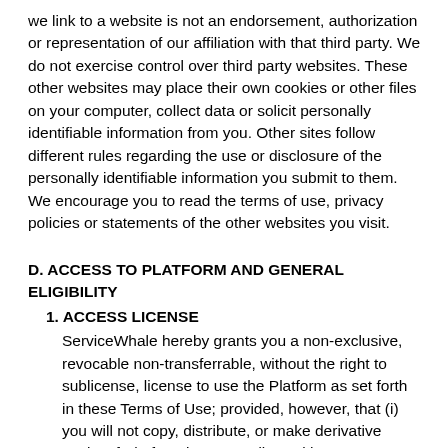we link to a website is not an endorsement, authorization or representation of our affiliation with that third party. We do not exercise control over third party websites. These other websites may place their own cookies or other files on your computer, collect data or solicit personally identifiable information from you. Other sites follow different rules regarding the use or disclosure of the personally identifiable information you submit to them. We encourage you to read the terms of use, privacy policies or statements of the other websites you visit.
D. ACCESS TO PLATFORM AND GENERAL ELIGIBILITY
1. ACCESS LICENSE
ServiceWhale hereby grants you a non-exclusive, revocable non-transferrable, without the right to sublicense, license to use the Platform as set forth in these Terms of Use; provided, however, that (i) you will not copy, distribute, or make derivative works of Platform in any medium without ServiceWhale's prior written consent; (ii) you will not alter or modify any part of the Platform other than as may be reasonably necessary to use the Platform for its intended purposes; and (iii) you will otherwise act in accordance with the terms set forth in these Terms of Use and in accordance with